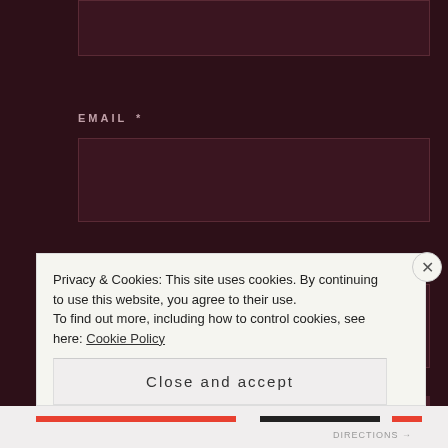[Figure (screenshot): Top partial input box visible at top of page, dark wine/maroon background form field]
EMAIL *
[Figure (screenshot): Email input text field, dark maroon background with border]
WEBSITE
[Figure (screenshot): Website input text field, dark maroon background with border]
POST COMMENT
Privacy & Cookies: This site uses cookies. By continuing to use this website, you agree to their use.
To find out more, including how to control cookies, see here: Cookie Policy
Close and accept